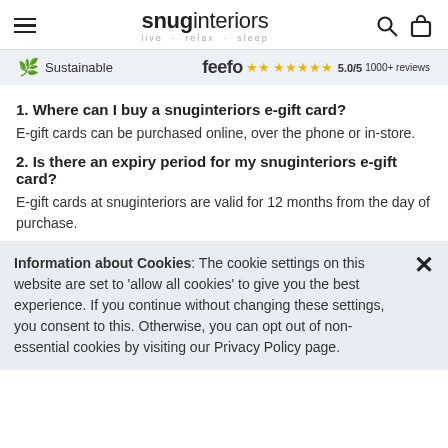snuginteriors — live · relax · sleep
Sustainable | feefo 5.0/5 1000+ reviews
1. Where can I buy a snuginteriors e-gift card?
E-gift cards can be purchased online, over the phone or in-store.
2. Is there an expiry period for my snuginteriors e-gift card?
E-gift cards at snuginteriors are valid for 12 months from the day of purchase.
Information about Cookies: The cookie settings on this website are set to 'allow all cookies' to give you the best experience. If you continue without changing these settings, you consent to this. Otherwise, you can opt out of non-essential cookies by visiting our Privacy Policy page.